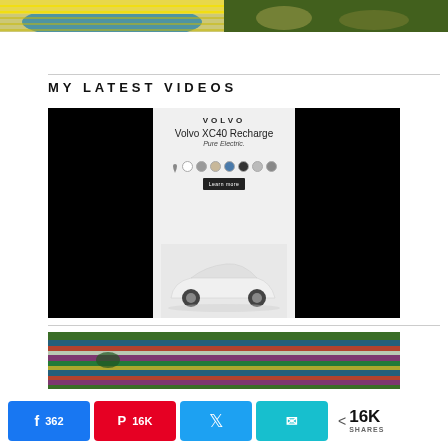[Figure (photo): Two partial images at top: left shows colorful beach/hat scene with yellow stripes, right shows animals on green grass]
MY LATEST VIDEOS
[Figure (screenshot): Video player with black panels on left and right, center showing Volvo XC40 Recharge Pure Electric advertisement with white SUV, color selection circles, and a call-to-action button]
[Figure (photo): Colorful striped textile/blanket on grass, with blue and multicolor stripes visible]
362
16K
16K SHARES